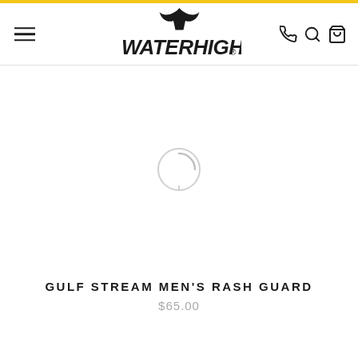[Figure (logo): WaterHigh brand logo with whale tail icon and stylized text]
[Figure (photo): Product image placeholder with circular loading icon for Gulf Stream Men's Rash Guard]
GULF STREAM MEN'S RASH GUARD
$65.00